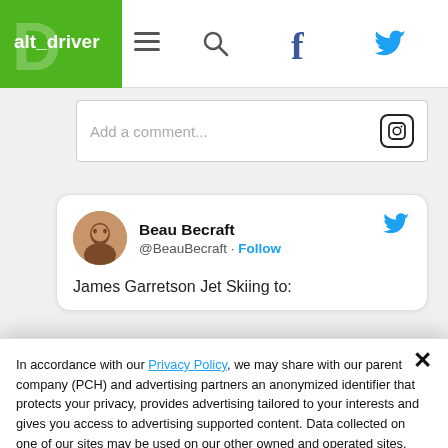alt_driver navigation bar with logo, hamburger menu, search, Facebook, and Twitter icons
Add a comment...
[Figure (screenshot): Tweet card showing Beau Becraft @BeauBecraft with Follow link and tweet body 'James Garretson Jet Skiing to:']
In accordance with our Privacy Policy, we may share with our parent company (PCH) and advertising partners an anonymized identifier that protects your privacy, provides advertising tailored to your interests and gives you access to advertising supported content. Data collected on one of our sites may be used on our other owned and operated sites, which sites are identified in our Privacy Policy. All of our sites are governed by the same Privacy Policy, and by proceeding to access this site, you are consenting to that Privacy Policy.